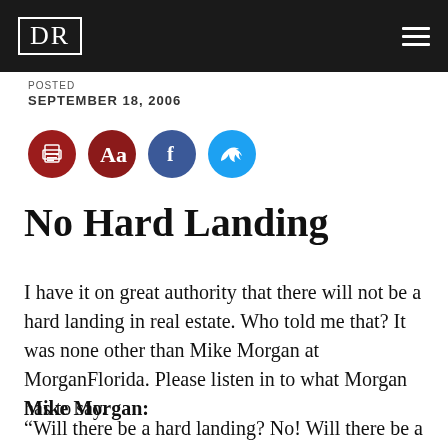DR
POSTED
SEPTEMBER 18, 2006
[Figure (illustration): Row of four social/action icon circles: print (dark red), font size Aa (dark red), Facebook (dark blue), Twitter (light blue)]
No Hard Landing
I have it on great authority that there will not be a hard landing in real estate. Who told me that? It was none other than Mike Morgan at MorganFlorida. Please listen in to what Morgan has to say.
Mike Morgan:
“Will there be a hard landing? No! Will there be a crash landing? Absolutely!